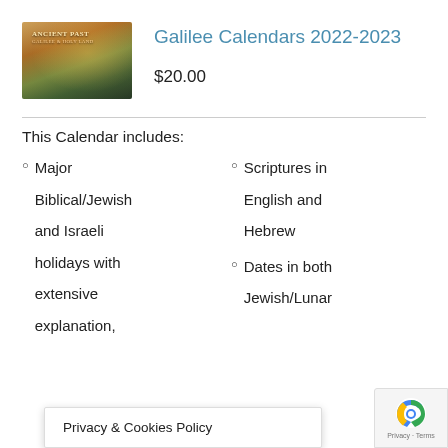[Figure (photo): Calendar cover image showing ancient biblical landscape with golden lighting and trees]
Galilee Calendars 2022-2023
$20.00
This Calendar includes:
Major Biblical/Jewish and Israeli holidays with extensive explanation,
Scriptures in English and Hebrew
Dates in both Jewish/Lunar
Privacy & Cookies Policy